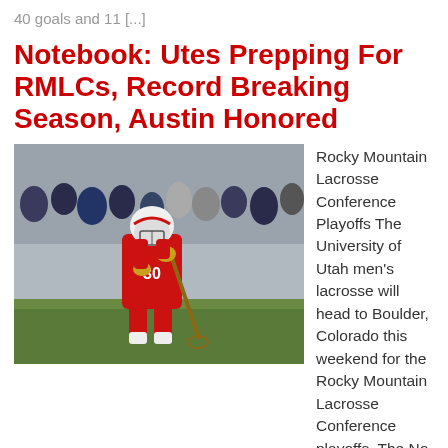40 goals and 11 [...]
Notebook: Utes Prepping For RMLCs, Record Breaking Season, Austin Honored
[Figure (photo): A University of Utah lacrosse player wearing red jersey number 30 and white helmet, crouching and cradling a lacrosse stick on a field, with spectators in the background.]
Rocky Mountain Lacrosse Conference Playoffs The University of Utah men's lacrosse will head to Boulder, Colorado this weekend for the Rocky Mountain Lacrosse Conference playoffs. The No. 1 seeded Utes will